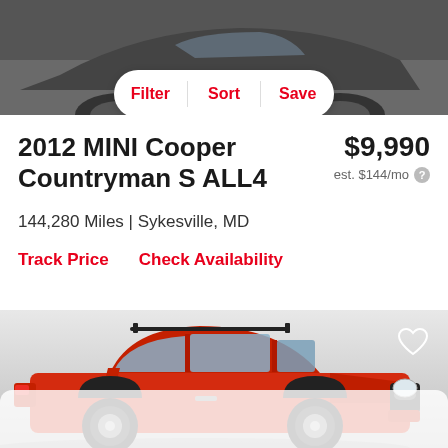[Figure (photo): Top portion of a vehicle listing page showing car photo at top with Filter, Sort, Save navigation bar overlay]
2012 MINI Cooper Countryman S ALL4
$9,990
est. $144/mo
144,280 Miles | Sykesville, MD
Track Price    Check Availability
[Figure (photo): Red MINI Cooper Countryman S ALL4 photographed from front-left angle on a light grey background with roof rails visible]